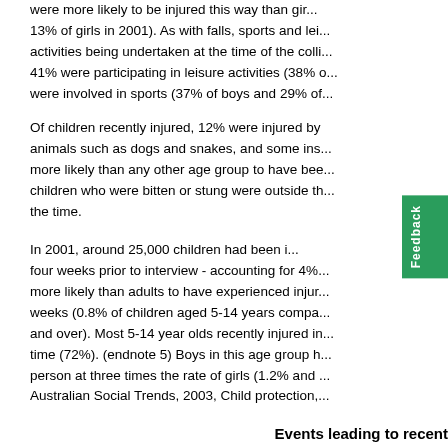were more likely to be injured this way than girls (13% of girls in 2001). As with falls, sports and leisure activities being undertaken at the time of the collision: 41% were participating in leisure activities (38% of) were involved in sports (37% of boys and 29% of)
Of children recently injured, 12% were injured by animals such as dogs and snakes, and some insects more likely than any other age group to have been children who were bitten or stung were outside the the time.
In 2001, around 25,000 children had been injured in the four weeks prior to interview - accounting for 4% more likely than adults to have experienced injury in weeks (0.8% of children aged 5-14 years compared and over). Most 5-14 year olds recently injured in time (72%). (endnote 5) Boys in this age group had person at three times the rate of girls (1.2% and 0 Australian Social Trends, 2003, Child protection,
Events leading to recent